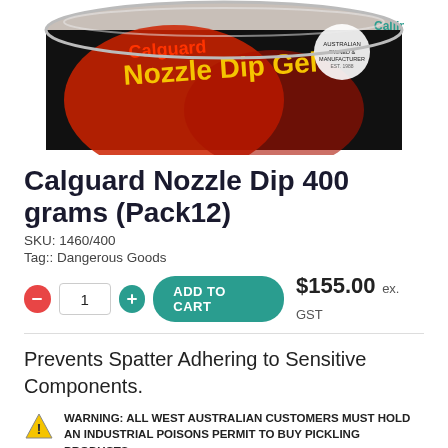[Figure (photo): Partial top view of a Calguard Nozzle Dip Gel product tin/container, showing yellow text 'Nozzle Dip Gel' on a black and red background label.]
Calguard Nozzle Dip 400 grams (Pack12)
SKU: 1460/400
Tag:: Dangerous Goods
1  ADD TO CART  $155.00 ex. GST
Prevents Spatter Adhering to Sensitive Components.
WARNING: ALL WEST AUSTRALIAN CUSTOMERS MUST HOLD AN INDUSTRIAL POISONS PERMIT TO BUY PICKLING PRODUCTS